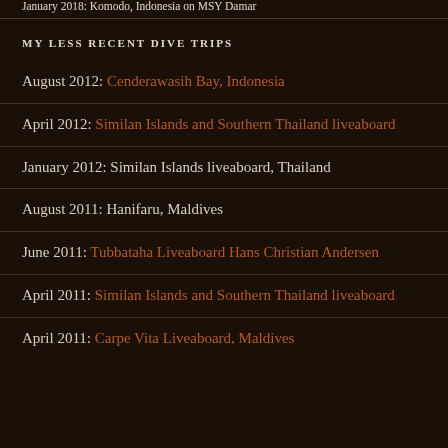January 2018: Komodo, Indonesia on MSY Damar
MY LESS RECENT DIVE TRIPS
August 2012: Cenderawasih Bay, Indonesia
April 2012: Similan Islands and Southern Thailand liveaboard
January 2012: Similan Islands liveaboard, Thailand
August 2011: Hanifaru, Maldives
June 2011: Tubbataha Liveaboard Hans Christian Andersen
April 2011: Similan Islands and Southern Thailand liveaboard
April 2011: Carpe Vita Liveaboard, Maldives